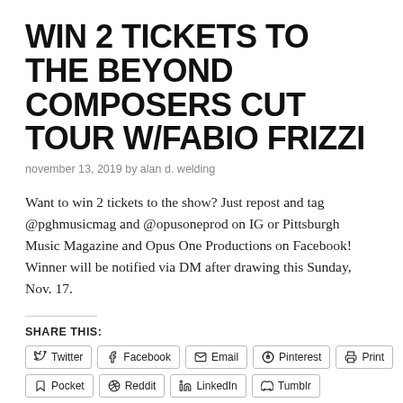WIN 2 TICKETS TO THE BEYOND COMPOSERS CUT TOUR W/FABIO FRIZZI
november 13, 2019 by alan d. welding
Want to win 2 tickets to the show? Just repost and tag @pghmusicmag and @opusoneprod on IG or Pittsburgh Music Magazine and Opus One Productions on Facebook! Winner will be notified via DM after drawing this Sunday, Nov. 17.
SHARE THIS:
Twitter | Facebook | Email | Pinterest | Print | Pocket | Reddit | LinkedIn | Tumblr